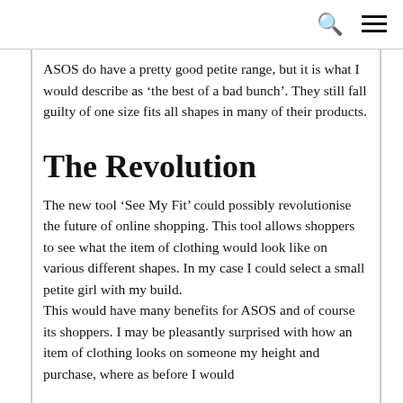ASOS do have a pretty good petite range, but it is what I would describe as ‘the best of a bad bunch’. They still fall guilty of one size fits all shapes in many of their products.
The Revolution
The new tool ‘See My Fit’ could possibly revolutionise the future of online shopping. This tool allows shoppers to see what the item of clothing would look like on various different shapes. In my case I could select a small petite girl with my build.
This would have many benefits for ASOS and of course its shoppers. I may be pleasantly surprised with how an item of clothing looks on someone my height and purchase, where as before I would